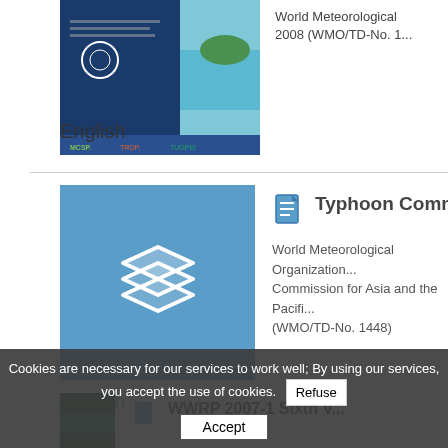[Figure (photo): Book cover thumbnail for WMO publication 2008 (WMO/TD-No. 1...), showing blue and teal design]
World Meteorological Organization... 2008 (WMO/TD-No. 1...
English
[Figure (illustration): Blue thumbnail with stacked books/layers icon for Typhoon Committee item]
[Figure (illustration): Small blue document icon next to Typhoon Committee title]
Typhoon Committee Ex...
World Meteorological Organization... Commission for Asia and the Pacifi... (WMO/TD-No. 1448)
English
[Figure (screenshot): Green thumbnail for WWRP 2007-1 Sixth V... item at the bottom]
WWRP 2007-1 Sixth V...
Cookies are necessary for our services to work well; By using our services, you accept the use of cookies.
Refuse
Accept